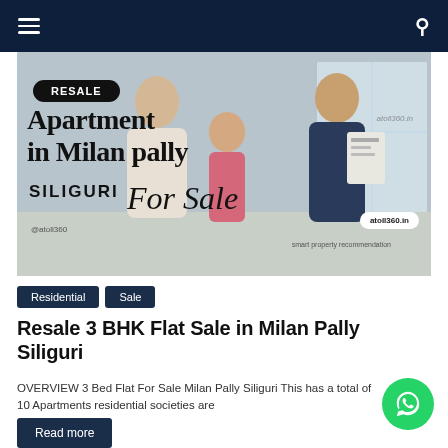Navigation bar with hamburger menu and search icon
[Figure (photo): Real estate promotional banner showing couple shaking hands with agent, overlaid with text: RESALE, Apartment in Milan pally, SILIGURI, For Sale, atoll360.in, smart property recommendations]
Residential
Sale
Resale 3 BHK Flat Sale in Milan Pally Siliguri
OVERVIEW 3 Bed Flat For Sale Milan Pally Siliguri This has a total of 10 Apartments residential societies are
Read more